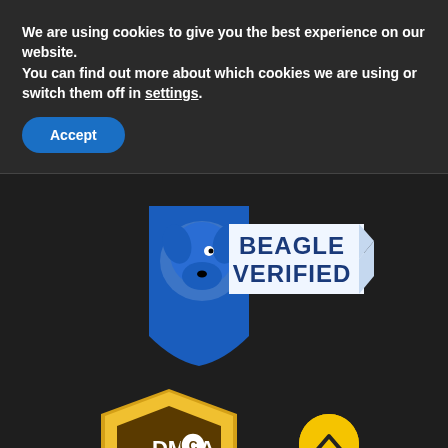We are using cookies to give you the best experience on our website.
You can find out more about which cookies we are using or switch them off in settings.
Accept
[Figure (logo): Beagle Verified badge — blue shield with dog head silhouette and ribbon banner reading BEAGLE VERIFIED]
[Figure (logo): DMCA Protected badge — gold shield with DMCA.com text and green Protected ribbon]
[Figure (other): Yellow circular scroll-to-top button with upward chevron arrow]
Search for | Business Focus
1   CHEAP UNLIMITED INTERNET PLANS ▶